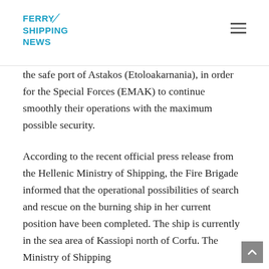FERRY SHIPPING NEWS
the safe port of Astakos (Etoloakarnania), in order for the Special Forces (EMAK) to continue smoothly their operations with the maximum possible security.
According to the recent official press release from the Hellenic Ministry of Shipping, the Fire Brigade informed that the operational possibilities of search and rescue on the burning ship in her current position have been completed. The ship is currently in the sea area of Kassiopi north of Corfu. The Ministry of Shipping